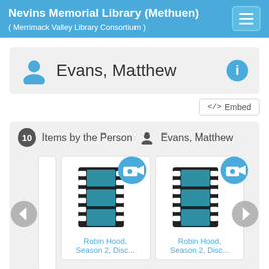Nevins Memorial Library (Methuen)
( Merrimack Valley Library Consortium )
Evans, Matthew
</>  Embed
10  Items by the Person  Evans, Matthew
[Figure (screenshot): Film reel icon with blue video camera badge overlay, representing a video item card for Robin Hood, Season 2, Disc...]
[Figure (screenshot): Film reel icon with blue video camera badge overlay, representing a video item card for Robin Hood, Season 2, Disc...]
Robin Hood, Season 2, Disc...
Robin Hood, Season 2, Disc...